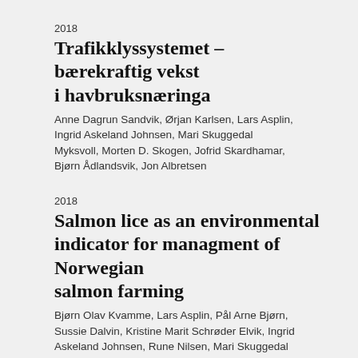2018
Trafikklyssystemet – bærekraftig vekst i havbruksnæringa
Anne Dagrun Sandvik, Ørjan Karlsen, Lars Asplin, Ingrid Askeland Johnsen, Mari Skuggedal Myksvoll, Morten D. Skogen, Jofrid Skardhamar, Bjørn Ådlandsvik, Jon Albretsen
2018
Salmon lice as an environmental indicator for managment of Norwegian salmon farming
Bjørn Olav Kvamme, Lars Asplin, Pål Arne Bjørn, Sussie Dalvin, Kristine Marit Schrøder Elvik, Ingrid Askeland Johnsen, Rune Nilsen, Mari Skuggedal Myksvoll, Anne Dagrun Sandvik, Rosa Maria Serra Llinares, Rasmus Skern-Mauritzen, Terje Svåsand, Geir Lasse Taranger, Bjørn Ådlandsvik, Ørjan